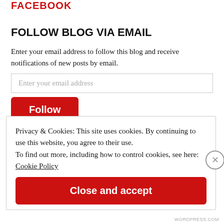FACEBOOK
FOLLOW BLOG VIA EMAIL
Enter your email address to follow this blog and receive notifications of new posts by email.
Enter your email address
Follow
Join 87 other followers
Privacy & Cookies: This site uses cookies. By continuing to use this website, you agree to their use.
To find out more, including how to control cookies, see here:
Cookie Policy
Close and accept
WORDPRESS.COM